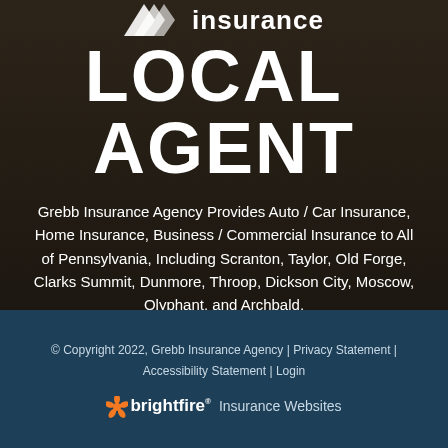[Figure (logo): Grebb Insurance logo with chevron/arrow icon and 'insurance' text in white on dark background]
LOCAL AGENT
Grebb Insurance Agency Provides Auto / Car Insurance, Home Insurance, Business / Commercial Insurance to All of Pennsylvania, Including Scranton, Taylor, Old Forge, Clarks Summit, Dunmore, Throop, Dickson City, Moscow, Olyphant, and Archbald.
© Copyright 2022, Grebb Insurance Agency | Privacy Statement | Accessibility Statement | Login
[Figure (logo): BrightFire logo with orange pinwheel icon and 'brightfire Insurance Websites' text in white]